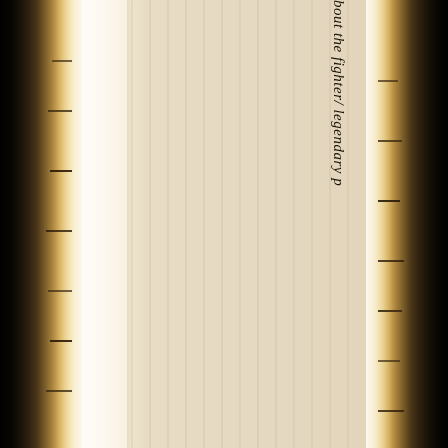[Figure (other): Scanned document page showing a cream/tan ruled notebook or ledger page with dark aged borders on left and right sides. Vertical ruled lines run across the page. Rotated italic text reads 'about the fighter/ legendary p' running vertically along the right side of the page.]
about the fighter/ legendary p